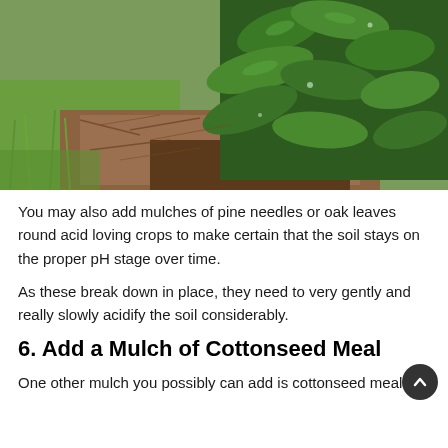[Figure (photo): Photograph of pine needle mulch around the base of a shrub with broad green leaves, adjacent to a lawn area with green grass.]
You may also add mulches of pine needles or oak leaves round acid loving crops to make certain that the soil stays on the proper pH stage over time.
As these break down in place, they need to very gently and really slowly acidify the soil considerably.
6. Add a Mulch of Cottonseed Meal
One other mulch you possibly can add is cottonseed meal.